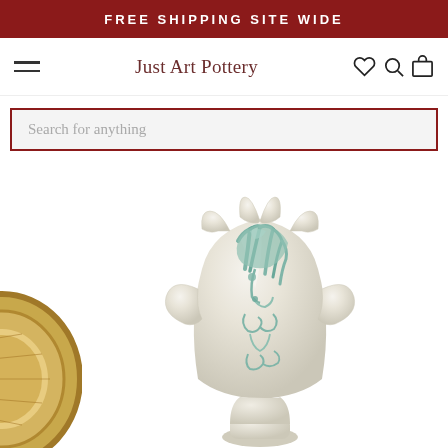FREE SHIPPING SITE WIDE
Just Art Pottery
Search for anything
[Figure (photo): A white ceramic art pottery vase with scalloped top edges and side ears/handles, featuring a blue-green relief of a stylized face or figure on the front. Partially visible gold-rimmed circular object on the left side. White background.]